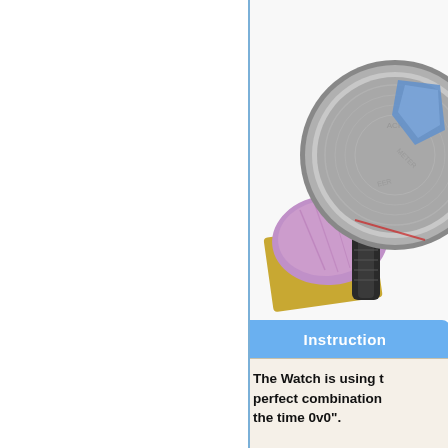[Figure (photo): Photo of a silver watch with its back exposed, placed on a gold and purple foil/pouch, on a white background. The watch face/back shows some decorative elements.]
Instruction
The Watch is using t perfect combination the time 0v0".